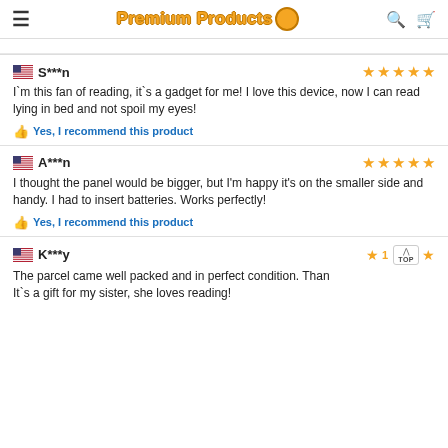Premium Products
S***n — 5 stars — I`m this fan of reading, it`s a gadget for me! I love this device, now I can read lying in bed and not spoil my eyes! Yes, I recommend this product
A***n — 5 stars — I thought the panel would be bigger, but I'm happy it's on the smaller side and handy. I had to insert batteries. Works perfectly! Yes, I recommend this product
K***y — 1 star — The parcel came well packed and in perfect condition. Than It`s a gift for my sister, she loves reading!